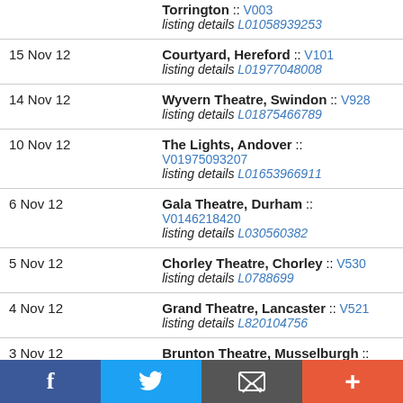| Date | Venue |
| --- | --- |
| (Torrington) :: V003 | listing details L01058939253 |
| 15 Nov 12 | Courtyard, Hereford :: V101
listing details L01977048008 |
| 14 Nov 12 | Wyvern Theatre, Swindon :: V928
listing details L01875466789 |
| 10 Nov 12 | The Lights, Andover :: V01975093207
listing details L01653966911 |
| 6 Nov 12 | Gala Theatre, Durham :: V0146218420
listing details L030560382 |
| 5 Nov 12 | Chorley Theatre, Chorley :: V530
listing details L0788699 |
| 4 Nov 12 | Grand Theatre, Lancaster :: V521
listing details L820104756 |
| 3 Nov 12 | Brunton Theatre, Musselburgh :: V633
listing details L0102864654 |